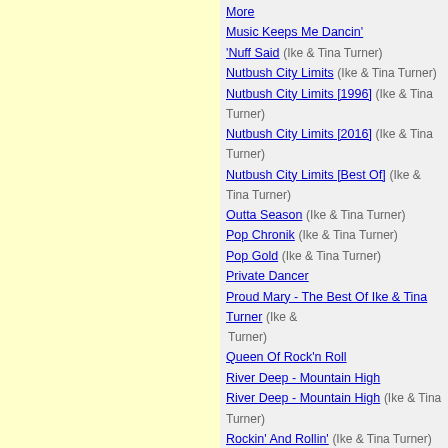More
Music Keeps Me Dancin'
'Nuff Said (Ike & Tina Turner)
Nutbush City Limits (Ike & Tina Turner)
Nutbush City Limits [1996] (Ike & Tina Turner)
Nutbush City Limits [2016] (Ike & Tina Turner)
Nutbush City Limits [Best Of] (Ike & Tina Turner)
Outta Season (Ike & Tina Turner)
Pop Chronik (Ike & Tina Turner)
Pop Gold (Ike & Tina Turner)
Private Dancer
Proud Mary - The Best Of Ike & Tina Turner (Ike & Turner)
Queen Of Rock'n Roll
River Deep - Mountain High
River Deep - Mountain High (Ike & Tina Turner)
Rockin' And Rollin' (Ike & Tina Turner)
Rough
Simply Live - Live Legends
Add an album
DVDS BY TINA TURNER
All The Best - The Live Collection
Celebrate! - The Best Of / Rio '88 - Live In Concert
Celebrate! - The Best Of
Collector's Edition
Live From Barcelona 1990
Live in Amsterdam - Wildest Dreams Tour / One Last Time Live in Concert / Rio '88 - Live In Concert
Live in Amsterdam - Wildest Dreams Tour / One Last Time Live in Concert
Live in Amsterdam - Wildest Dreams Tour
One Last Time Live in Concert / Celebrate! - The Best Of
SONGS BY IKE TURNER